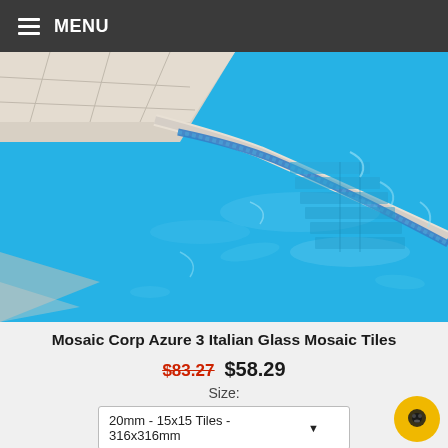≡ MENU
[Figure (photo): Aerial/close-up view of a swimming pool edge with blue mosaic tiles and white stone coping, showing pool steps submerged in clear blue water]
Mosaic Corp Azure 3 Italian Glass Mosaic Tiles
$83.27 $58.29
Size:
20mm - 15x15 Tiles - 316x316mm
Quantity: 1